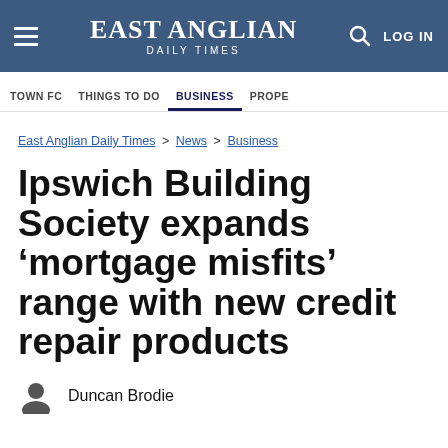EAST ANGLIAN DAILY TIMES
TOWN FC  THINGS TO DO  BUSINESS  PROPE
East Anglian Daily Times > News > Business
Ipswich Building Society expands ‘mortgage misfits’ range with new credit repair products
Duncan Brodie